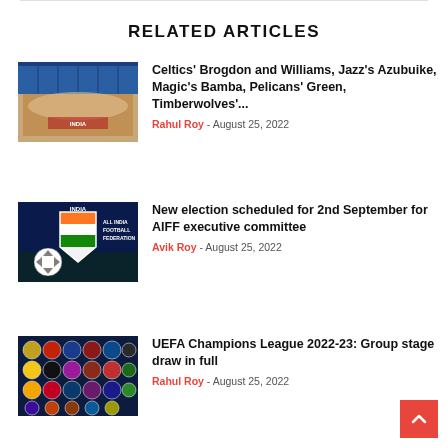RELATED ARTICLES
[Figure (photo): Group photo of basketball players on a court with blue banners in background]
Celtics' Brogdon and Williams, Jazz's Azubuike, Magic's Bamba, Pelicans' Green, Timberwolves'...
Rahul Roy - August 25, 2022
[Figure (photo): All India Football Federation logo on dark blue background with soccer ball]
New election scheduled for 2nd September for AIFF executive committee
Avik Roy - August 25, 2022
[Figure (photo): UEFA Champions League 2022-23 group stage team logos grid on dark blue background]
UEFA Champions League 2022-23: Group stage draw in full
Rahul Roy - August 25, 2022